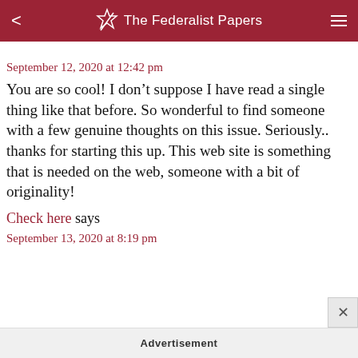The Federalist Papers
September 12, 2020 at 12:42 pm
You are so cool! I don’t suppose I have read a single thing like that before. So wonderful to find someone with a few genuine thoughts on this issue. Seriously.. thanks for starting this up. This web site is something that is needed on the web, someone with a bit of originality!
Check here says
September 13, 2020 at 8:19 pm
Advertisement